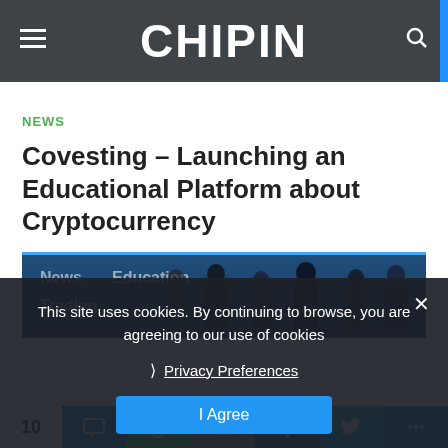CHIPIN
NEWS
Covesting – Launching an Educational Platform about Cryptocurrency
[Figure (photo): Dark banner image with silhouettes of people and text overlays: News, Education, Trading]
This site uses cookies. By continuing to browse, you are agreeing to our use of cookies
Privacy Preferences
I Agree
10 [share buttons: SMS, WhatsApp, Email, Facebook, Twitter, More]